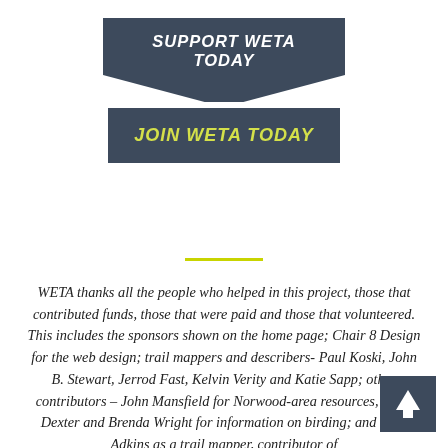SUPPORT WETA TODAY
JOIN WETA TODAY
WETA thanks all the people who helped in this project, those that contributed funds, those that were paid and those that volunteered. This includes the sponsors shown on the home page; Chair 8 Design for the web design; trail mappers and describers- Paul Koski, John B. Stewart, Jerrod Fast, Kelvin Verity and Katie Sapp; other contributors – John Mansfield for Norwood-area resources, Coen Dexter and Brenda Wright for information on birding; and Tony Adkins as a trail mapper, contributor of